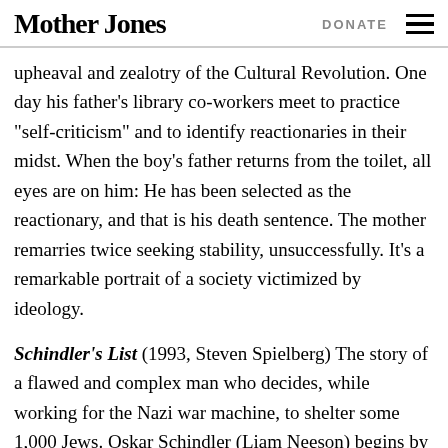Mother Jones | DONATE
upheaval and zealotry of the Cultural Revolution. One day his father’s library co-workers meet to practice “self-criticism” and to identify reactionaries in their midst. When the boy’s father returns from the toilet, all eyes are on him: He has been selected as the reactionary, and that is his death sentence. The mother remarries twice seeking stability, unsuccessfully. It’s a remarkable portrait of a society victimized by ideology.
Schindler’s List (1993, Steven Spielberg) The story of a flawed and complex man who decides, while working for the Nazi war machine, to shelter some 1,000 Jews. Oskar Schindler (Liam Neeson) begins by sucking up to the Nazis, but some deep chord in